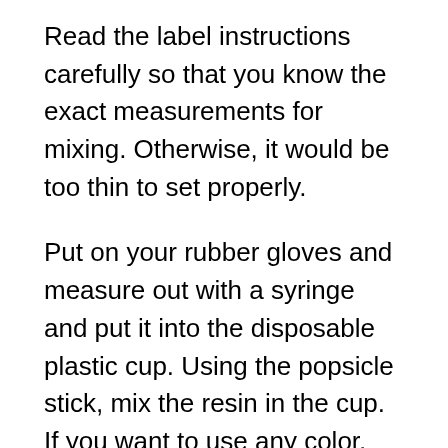Read the label instructions carefully so that you know the exact measurements for mixing. Otherwise, it would be too thin to set properly.
Put on your rubber gloves and measure out with a syringe and put it into the disposable plastic cup. Using the popsicle stick, mix the resin in the cup. If you want to use any color, carefully add it by dropping it in according to instructions.
You can choose acrylic or poster paints or even India ink. Mix it well. If you want to use glitter, then take a good amount as it tends to